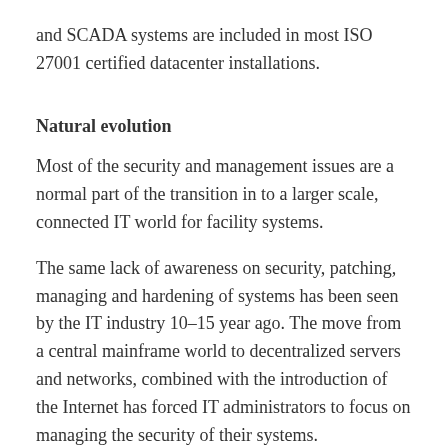and SCADA systems are included in most ISO 27001 certified datacenter installations.
Natural evolution
Most of the security and management issues are a normal part of the transition in to a larger scale, connected IT world for facility systems.
The same lack of awareness on security, patching, managing and hardening of systems has been seen by the IT industry 10–15 year ago. The move from a central mainframe world to decentralized servers and networks, combined with the introduction of the Internet has forced IT administrators to focus on managing the security of their systems.